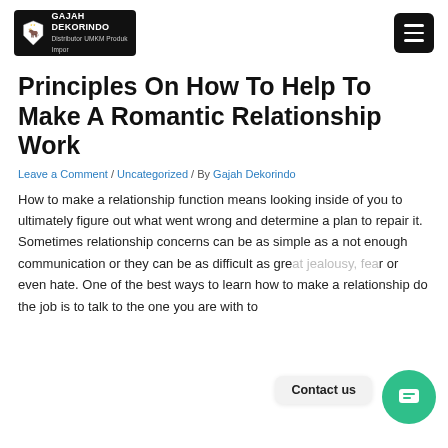[Figure (logo): Gajah Dekorindo logo — black box with emblem and white bold text]
[Figure (other): Hamburger menu button — black rounded square with three white horizontal lines]
Principles On How To Help To Make A Romantic Relationship Work
Leave a Comment / Uncategorized / By Gajah Dekorindo
How to make a relationship function means looking inside of you to ultimately figure out what went wrong and determine a plan to repair it. Sometimes relationship concerns can be as simple as a not enough communication or they can be as difficult as gre... ea... or even hate. One of the best ways to learn how to make a relationship do the job is to talk to the one you are with to
Contact us